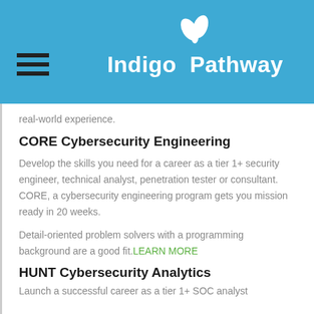Indigo Pathway
real-world experience.
CORE Cybersecurity Engineering
Develop the skills you need for a career as a tier 1+ security engineer, technical analyst, penetration tester or consultant. CORE, a cybersecurity engineering program gets you mission ready in 20 weeks.
Detail-oriented problem solvers with a programming background are a good fit. LEARN MORE
HUNT Cybersecurity Analytics
Launch a successful career as a tier 1+ SOC analyst